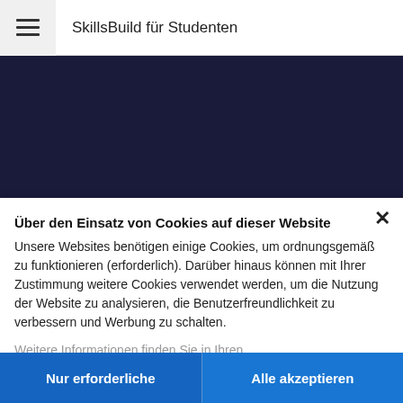SkillsBuild für Studenten
[Figure (screenshot): Dark navy/purple banner background area for SkillsBuild STEM Labs]
SkillsBuild STEM Labs Teil 1
Über den Einsatz von Cookies auf dieser Website
Unsere Websites benötigen einige Cookies, um ordnungsgemäß zu funktionieren (erforderlich). Darüber hinaus können mit Ihrer Zustimmung weitere Cookies verwendet werden, um die Nutzung der Website zu analysieren, die Benutzerfreundlichkeit zu verbessern und Werbung zu schalten.
Weitere Informationen finden Sie in Ihren
Nur erforderliche
Alle akzeptieren